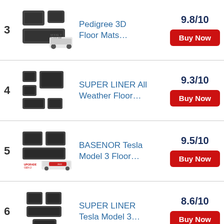3 Pedigree 3D Floor Mats… 9.8/10 Buy Now
4 SUPER LINER All Weather Floor… 9.3/10 Buy Now
5 BASENOR Tesla Model 3 Floor… 9.5/10 Buy Now
6 SUPER LINER Tesla Model 3… 8.6/10 Buy Now